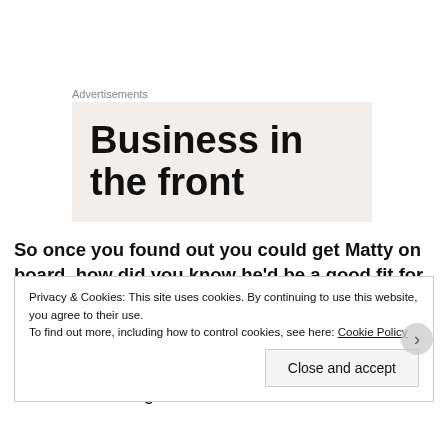Advertisements
[Figure (other): Advertisement banner showing large bold text 'Business in the front' on a light beige background]
So once you found out you could get Matty on board, how did you know he'd be a good fit for the song “Breathe Again”?
We were already huge fans of MMF, and then the fact that Cameron was already going to be in Nashville working with
Privacy & Cookies: This site uses cookies. By continuing to use this website, you agree to their use.
To find out more, including how to control cookies, see here: Cookie Policy
Close and accept